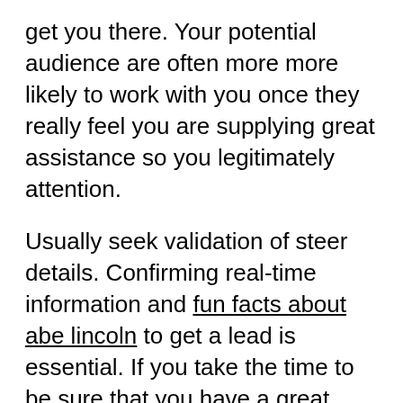get you there. Your potential audience are often more more likely to work with you once they really feel you are supplying great assistance so you legitimately attention.
Usually seek validation of steer details. Confirming real-time information and fun facts about abe lincoln to get a lead is essential. If you take the time to be sure that you have a great telephone number, area code or e-mail, you are able to be sure that the lead you may have is solid. Not doing this can squander lots of your time and effort.
Studying steer age group is the 1st step you